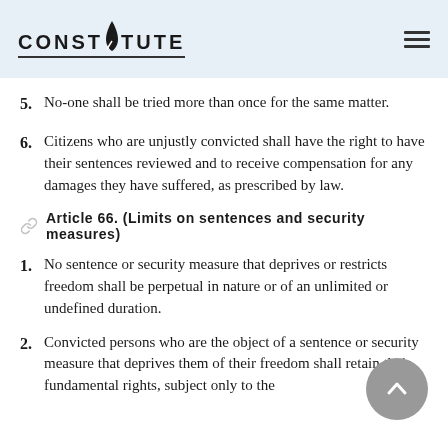CONSTITUTE
5. No-one shall be tried more than once for the same matter.
6. Citizens who are unjustly convicted shall have the right to have their sentences reviewed and to receive compensation for any damages they have suffered, as prescribed by law.
Article 66. (Limits on sentences and security measures)
1. No sentence or security measure that deprives or restricts freedom shall be perpetual in nature or of an unlimited or undefined duration.
2. Convicted persons who are the object of a sentence or security measure that deprives them of their freedom shall retain their fundamental rights, subject only to the